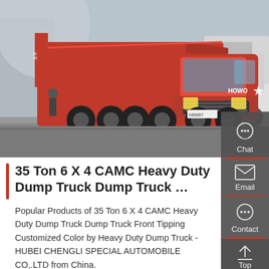[Figure (photo): A red HOWO heavy duty dump truck parked on a paved lot, with a white truck partially visible on the right, and a building in the background. License plate reads HOW07.]
35 Ton 6 X 4 CAMC Heavy Duty Dump Truck Dump Truck …
Popular Products of 35 Ton 6 X 4 CAMC Heavy Duty Dump Truck Dump Truck Front Tipping Customized Color by Heavy Duty Dump Truck - HUBEI CHENGLI SPECIAL AUTOMOBILE CO,.LTD from China.